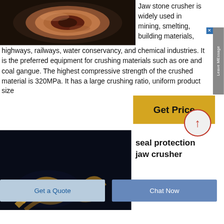[Figure (photo): Close-up photo of a circular metal ring/bushing component of a jaw stone crusher, showing metallic bronze/copper colored ring shape against dark background]
Jaw stone crusher is widely used in mining, smelting, building materials, highways, railways, water conservancy, and chemical industries. It is the preferred equipment for crushing materials such as ore and coal gangue. The highest compressive strength of the crushed material is 320MPa. It has a large crushing ratio, uniform product size
[Figure (screenshot): Leave MEssage sidebar tab UI element]
[Figure (other): Get Price yellow button and red-circle up-arrow back-to-top button]
[Figure (photo): Photo of golden/bronze colored mechanical parts (rings or gears) of jaw crusher against dark navy background]
seal protection jaw crusher
Get a Quote
Chat Now